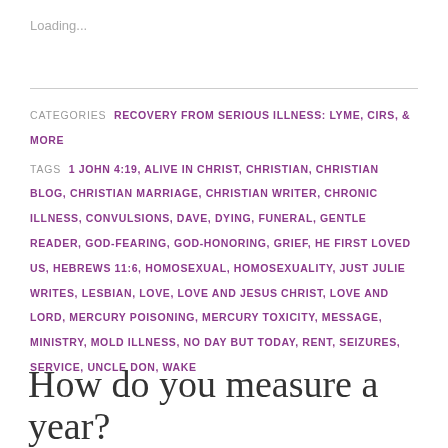Loading...
CATEGORIES  RECOVERY FROM SERIOUS ILLNESS: LYME, CIRS, & MORE
TAGS  1 JOHN 4:19, ALIVE IN CHRIST, CHRISTIAN, CHRISTIAN BLOG, CHRISTIAN MARRIAGE, CHRISTIAN WRITER, CHRONIC ILLNESS, CONVULSIONS, DAVE, DYING, FUNERAL, GENTLE READER, GOD-FEARING, GOD-HONORING, GRIEF, HE FIRST LOVED US, HEBREWS 11:6, HOMOSEXUAL, HOMOSEXUALITY, JUST JULIE WRITES, LESBIAN, LOVE, LOVE AND JESUS CHRIST, LOVE AND LORD, MERCURY POISONING, MERCURY TOXICITY, MESSAGE, MINISTRY, MOLD ILLNESS, NO DAY BUT TODAY, RENT, SEIZURES, SERVICE, UNCLE DON, WAKE
How do you measure a year?